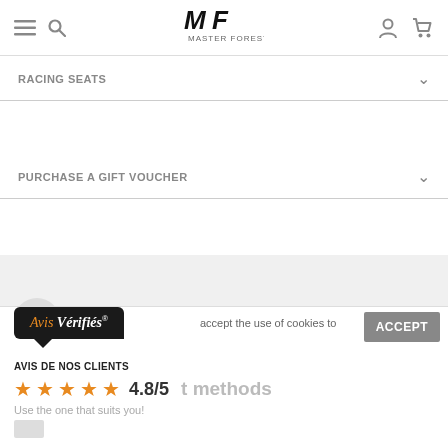Master Forest — site header with hamburger menu, search, logo, user icon, cart icon
RACING SEATS
PURCHASE A GIFT VOUCHER
Need some advice? Our specialists will answer you
Avis Vérifiés® — AVIS DE NOS CLIENTS ★★★★★ 4.8/5 — accept the use of cookies to — ACCEPT — t methods — Use the one that suits you!